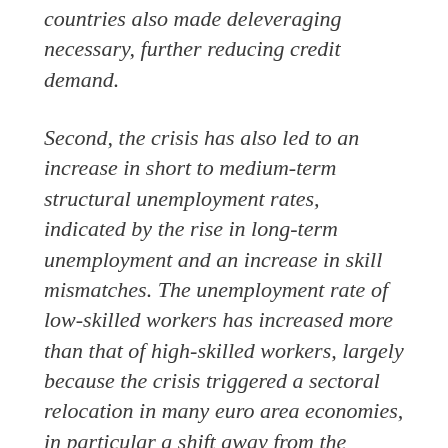countries also made deleveraging necessary, further reducing credit demand.
Second, the crisis has also led to an increase in short to medium-term structural unemployment rates, indicated by the rise in long-term unemployment and an increase in skill mismatches. The unemployment rate of low-skilled workers has increased more than that of high-skilled workers, largely because the crisis triggered a sectoral relocation in many euro area economies, in particular a shift away from the construction sector. As it may be difficult for low-skilled workers dismissed from one sector to find jobs in